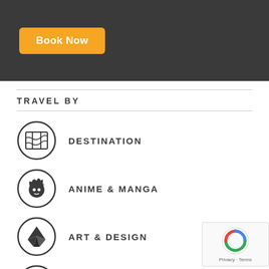[Figure (other): Dark banner with Book Now button in orange/yellow]
TRAVEL BY
DESTINATION
ANIME & MANGA
ART & DESIGN
BEACHES
CASTLES